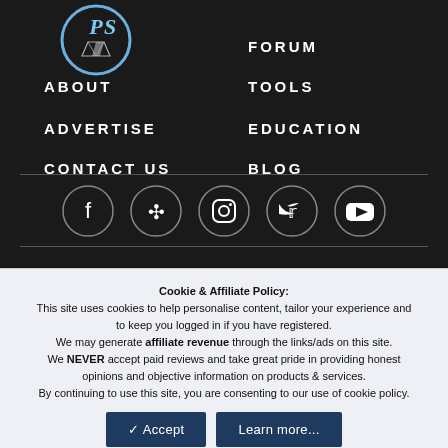[Figure (logo): PS logo circle with blue border and diamond/gem graphic]
ABOUT
ADVERTISE
CONTACT US
FORUM
TOOLS
EDUCATION
BLOG
[Figure (illustration): Row of five social media icon circles: Facebook, Pinterest, Instagram, Twitter, YouTube]
Cookie & Affiliate Policy: This site uses cookies to help personalise content, tailor your experience and to keep you logged in if you have registered. We may generate affiliate revenue through the links/ads on this site. We NEVER accept paid reviews and take great pride in providing honest opinions and objective information on products & services. By continuing to use this site, you are consenting to our use of cookie policy.
Accept   Learn more...